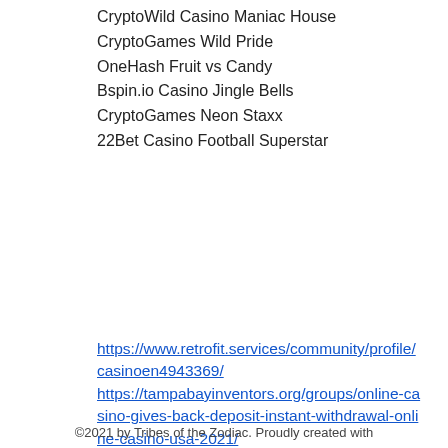CryptoWild Casino Maniac House
CryptoGames Wild Pride
OneHash Fruit vs Candy
Bspin.io Casino Jingle Bells
CryptoGames Neon Staxx
22Bet Casino Football Superstar
https://www.retrofit.services/community/profile/casinoen4943369/
https://tampabayinventors.org/groups/online-casino-gives-back-deposit-instant-withdrawal-online-casino-usa-2021/
https://www.igo-uk.com/profile/randellbinette1979/profile
https://www.malicieuse.fr/profile/dariagudaitis1995/profile
©2021 by Tribes of the Zodiac. Proudly created with